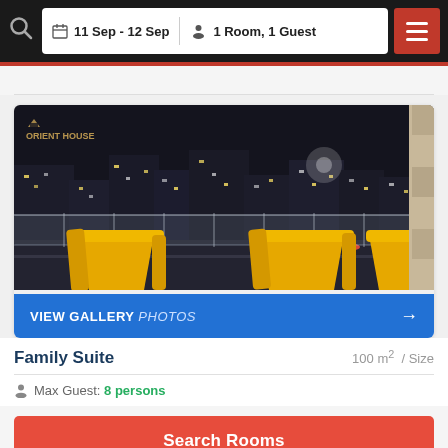11 Sep - 12 Sep   1 Room, 1 Guest
[Figure (photo): Hotel balcony at night with yellow chairs in foreground, city lights and street visible in background. Orient House logo visible top left.]
VIEW GALLERY PHOTOS →
Family Suite   100 m² / Size
Max Guest: 8 persons
Search Rooms